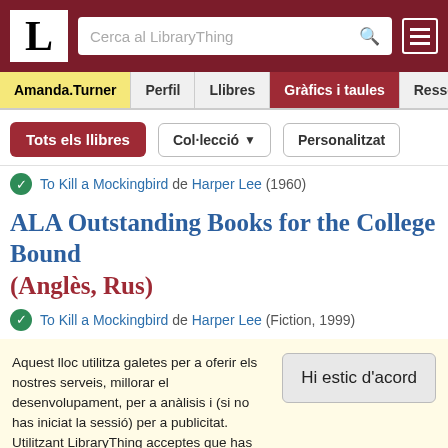L | Cerca al LibraryThing
Amanda.Turner | Perfil | Llibres | Gràfics i taules | Ressenye
Tots els llibres | Col·lecció ▼ | Personalitzat
✓ To Kill a Mockingbird de Harper Lee (1960)
ALA Outstanding Books for the College Bound (Anglès, Rus)
✓ To Kill a Mockingbird de Harper Lee (Fiction, 1999)
Aquest lloc utilitza galetes per a oferir els nostres serveis, millorar el desenvolupament, per a anàlisis i (si no has iniciat la sessió) per a publicitat. Utilitzant LibraryThing acceptes que has llegit i entès els nostres Termes de servei i politica de privacitat. L'ús que facis del lloc i dels seus serveis està subjecte a aquestes politiques i termes.
Hi estic d'acord